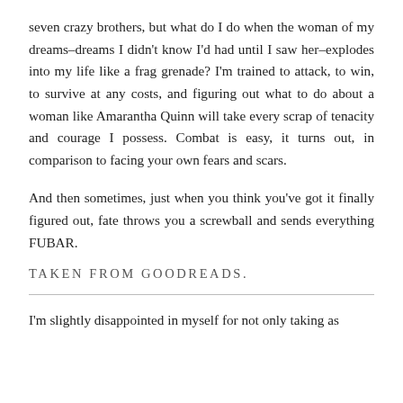seven crazy brothers, but what do I do when the woman of my dreams–dreams I didn't know I'd had until I saw her–explodes into my life like a frag grenade? I'm trained to attack, to win, to survive at any costs, and figuring out what to do about a woman like Amarantha Quinn will take every scrap of tenacity and courage I possess. Combat is easy, it turns out, in comparison to facing your own fears and scars.
And then sometimes, just when you think you've got it finally figured out, fate throws you a screwball and sends everything FUBAR.
TAKEN FROM GOODREADS.
I'm slightly disappointed in myself for not only taking as